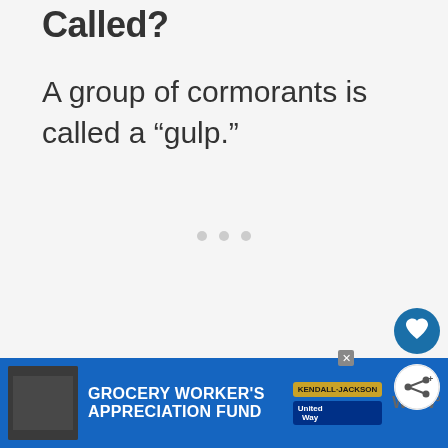Called?
A group of cormorants is called a “gulp.”
[Figure (other): Three small gray dots indicating a loading or pagination indicator]
[Figure (other): Blue circular heart/favorite button and white circular share button on right side]
[Figure (other): Advertisement banner: Grocery Worker's Appreciation Fund with Kendall Jackson and United Way logos, close button, and WW icon]